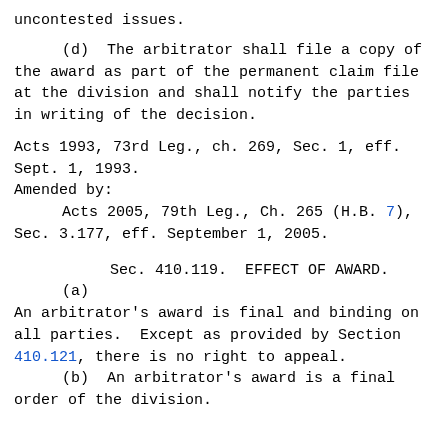uncontested issues.
(d)  The arbitrator shall file a copy of the award as part of the permanent claim file at the division and shall notify the parties in writing of the decision.
Acts 1993, 73rd Leg., ch. 269, Sec. 1, eff. Sept. 1, 1993.
Amended by:
        Acts 2005, 79th Leg., Ch. 265 (H.B. 7), Sec. 3.177, eff. September 1, 2005.
Sec. 410.119.  EFFECT OF AWARD.  (a) An arbitrator's award is final and binding on all parties.  Except as provided by Section 410.121, there is no right to appeal.
(b)  An arbitrator's award is a final order of the division.